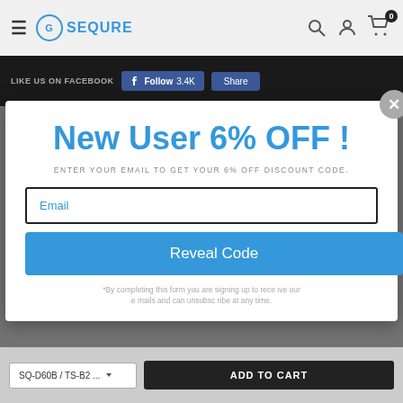[Figure (screenshot): Website navigation bar with hamburger menu, Sequre logo, search icon, user icon, and cart icon showing 0 items]
LIKE US ON FACEBOOK
[Figure (screenshot): Facebook Follow 3.4K and Share buttons]
New User 6% OFF !
ENTER YOUR EMAIL TO GET YOUR 6% OFF DISCOUNT CODE.
Email
Reveal Code
*By completing this form you are signing up to receive our emails and can unsubscribe at any time.
[Figure (screenshot): Add to cart section with SQ-D60B / TS-B2... variant selector and ADD TO CART button]